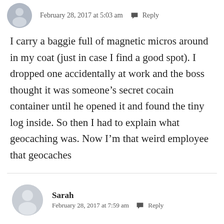February 28, 2017 at 5:03 am  Reply
I carry a baggie full of magnetic micros around in my coat (just in case I find a good spot). I dropped one accidentally at work and the boss thought it was someone’s secret cocain container until he opened it and found the tiny log inside. So then I had to explain what geocaching was. Now I’m that weird employee that geocaches
Sarah
February 28, 2017 at 7:59 am  Reply
We’re all that weird employee who geocaches I guess.. unless the boss is a geocacher too!!